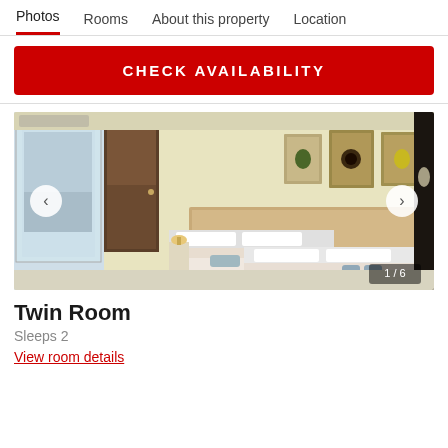Photos  Rooms  About this property  Location
CHECK AVAILABILITY
[Figure (photo): Hotel twin room with two single beds, white bedding, floral bedspreads, wooden headboard, yellow walls with three framed art pieces, large window/glass door to balcony on the left, dark wood door, navigation arrows on sides, counter 1/6]
Twin Room
Sleeps 2
View room details